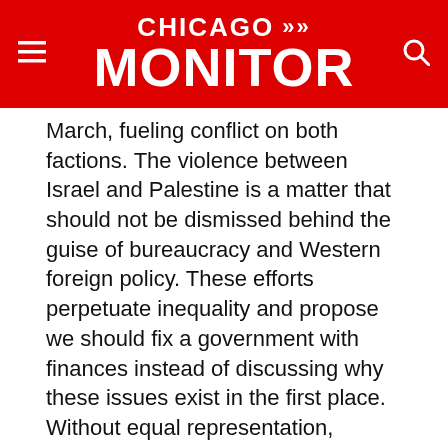CHICAGO >> MONITOR
March, fueling conflict on both factions. The violence between Israel and Palestine is a matter that should not be dismissed behind the guise of bureaucracy and Western foreign policy. These efforts perpetuate inequality and propose we should fix a government with finances instead of discussing why these issues exist in the first place. Without equal representation, Palestine is doomed to fail.
TAGS: #Trump, Human Rights Watch, Israel, jared kushner, Palestine, peaceful great return march